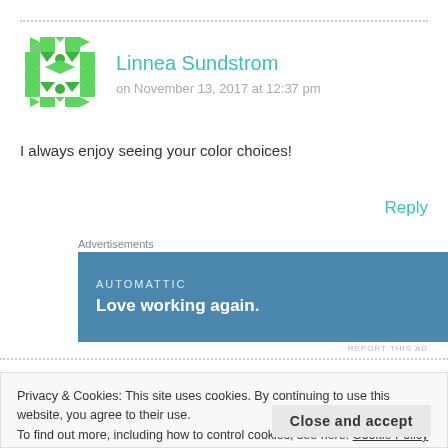[Figure (illustration): Green geometric avatar/identicon pattern for user Linnea Sundstrom]
Linnea Sundstrom
on November 13, 2017 at 12:37 pm
I always enjoy seeing your color choices!
Reply
Advertisements
[Figure (screenshot): Automattic advertisement banner with blue background. Text: AUTOMATTIC / Love working again.]
REPORT THIS AD
Privacy & Cookies: This site uses cookies. By continuing to use this website, you agree to their use.
To find out more, including how to control cookies, see here: Cookie Policy
Close and accept